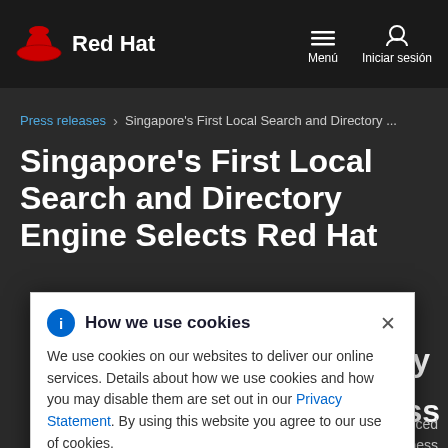Red Hat — Menú / Iniciar sesión
Press releases > Singapore's First Local Search and Directory ...
Singapore's First Local Search and Directory Engine Selects Red Hat S[...] urity a[...] business C[...]
R[...] Advanced P[...] ve business g[...]
How we use cookies

We use cookies on our websites to deliver our online services. Details about how we use cookies and how you may disable them are set out in our Privacy Statement. By using this website you agree to our use of cookies.